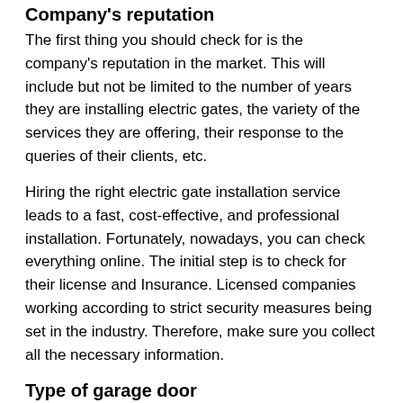Company's reputation
The first thing you should check for is the company's reputation in the market. This will include but not be limited to the number of years they are installing electric gates, the variety of the services they are offering, their response to the queries of their clients, etc.
Hiring the right electric gate installation service leads to a fast, cost-effective, and professional installation. Fortunately, nowadays, you can check everything online. The initial step is to check for their license and Insurance. Licensed companies working according to strict security measures being set in the industry. Therefore, make sure you collect all the necessary information.
Type of garage door
It is also important to check the electric gate material, make, and the warranty the company is giving you after the installation. You can also check